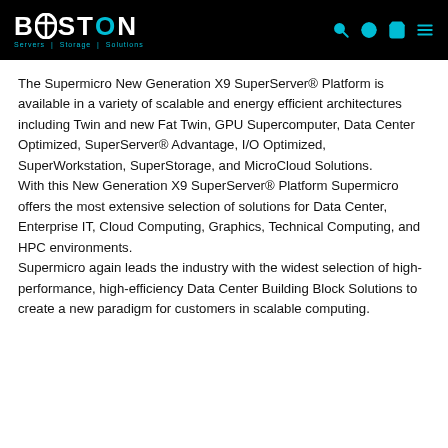BOSTON Servers | Storage | Solutions
The Supermicro New Generation X9 SuperServer® Platform is available in a variety of scalable and energy efficient architectures including Twin and new Fat Twin, GPU Supercomputer, Data Center Optimized, SuperServer® Advantage, I/O Optimized, SuperWorkstation, SuperStorage, and MicroCloud Solutions.
With this New Generation X9 SuperServer® Platform Supermicro offers the most extensive selection of solutions for Data Center, Enterprise IT, Cloud Computing, Graphics, Technical Computing, and HPC environments.
Supermicro again leads the industry with the widest selection of high-performance, high-efficiency Data Center Building Block Solutions to create a new paradigm for customers in scalable computing.